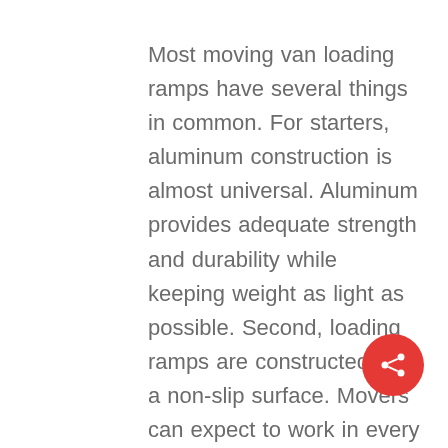Most moving van loading ramps have several things in common. For starters, aluminum construction is almost universal. Aluminum provides adequate strength and durability while keeping weight as light as possible. Second, loading ramps are constructed with a non-slip surface. Movers can expect to work in every weather condition and a ramp must lend to safety when its wet outside. Another common trait of loading ramps is that they conveniently store between the frame of the commercial truck and are pulled out from the rear bumper area. This otherwise unused ramp storage space leaves the cargo area free for paying customers. Additionally, most moving van ramps have a weight capacity rating of 1,000 lbs. There are a few differences from ramp to